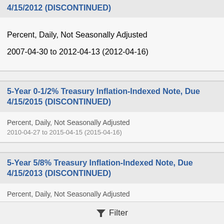4/15/2012 (DISCONTINUED)
Percent, Daily, Not Seasonally Adjusted
2007-04-30 to 2012-04-13 (2012-04-16)
5-Year 0-1/2% Treasury Inflation-Indexed Note, Due 4/15/2015 (DISCONTINUED)
Percent, Daily, Not Seasonally Adjusted
2010-04-27 to 2015-04-15 (2015-04-16)
5-Year 5/8% Treasury Inflation-Indexed Note, Due 4/15/2013 (DISCONTINUED)
Percent, Daily, Not Seasonally Adjusted
2008-04-30 to 2013-04-12 (2013-04-15)
Filter